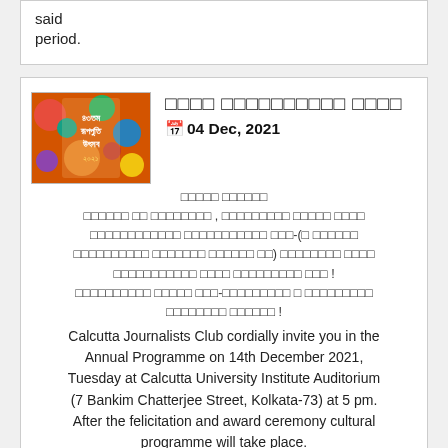said
period.
04 Dec, 2021
[Bengali text - event announcement]
Calcutta Journalists Club cordially invite you in the Annual Programme on 14th December 2021, Tuesday at Calcutta University Institute Auditorium (7 Bankim Chatterjee Street, Kolkata-73) at 5 pm. After the felicitation and award ceremony cultural programme will take place.